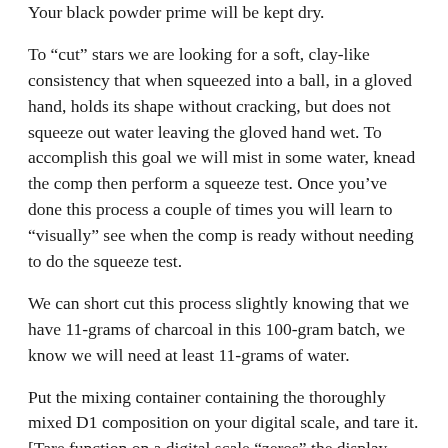Your black powder prime will be kept dry.
To “cut” stars we are looking for a soft, clay-like consistency that when squeezed into a ball, in a gloved hand, holds its shape without cracking, but does not squeeze out water leaving the gloved hand wet. To accomplish this goal we will mist in some water, knead the comp then perform a squeeze test. Once you’ve done this process a couple of times you will learn to “visually” see when the comp is ready without needing to do the squeeze test.
We can short cut this process slightly knowing that we have 11-grams of charcoal in this 100-gram batch, we know we will need at least 11-grams of water.
Put the mixing container containing the thoroughly mixed D1 composition on your digital scale, and tare it. [Tare function on a digital scale “zeros” the display allowing you to measure only the additions]. Start dampening the composition by